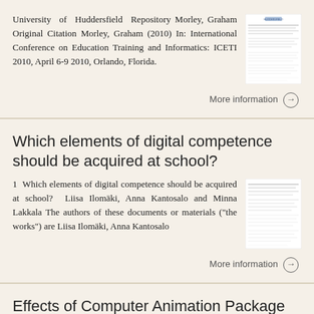University of Huddersfield Repository Morley, Graham Original Citation Morley, Graham (2010) In: International Conference on Education Training and Informatics: ICETI 2010, April 6-9 2010, Orlando, Florida.
[Figure (screenshot): Thumbnail of a document page from University of Huddersfield Repository]
More information →
Which elements of digital competence should be acquired at school?
1  Which elements of digital competence should be acquired at school? Liisa Ilomäki, Anna Kantosalo and Minna Lakkala The authors of these documents or materials ("the works") are Liisa Ilomäki, Anna Kantosalo
[Figure (screenshot): Thumbnail of a document page about digital competence]
More information →
Effects of Computer Animation Package on